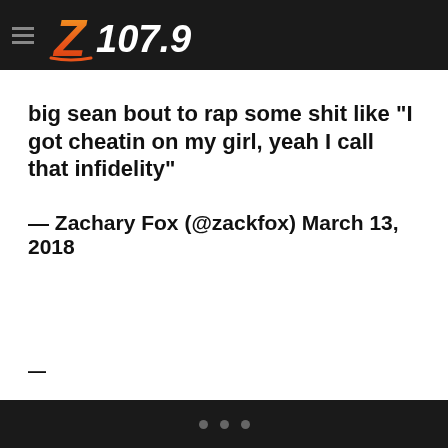Z107.9
big sean bout to rap some shit like "I got cheatin on my girl, yeah I call that infidelity"
— Zachary Fox (@zackfox) March 13, 2018
• • •